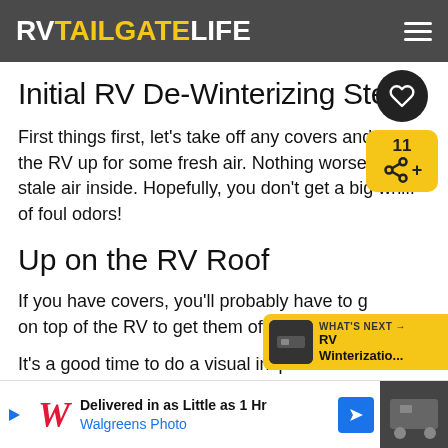RVTAILGATELIFE
Initial RV De-Winterizing Steps
First things first, let's take off any covers and open the RV up for some fresh air. Nothing worse than stale air inside. Hopefully, you don't get a big whiff of foul odors!
Up on the RV Roof
If you have covers, you'll probably have to g on top of the RV to get them off.
It's a good time to do a visual inspection of the ro... even sm... amage
[Figure (other): Walgreens Photo advertisement: Delivered in as Little as 1 Hr, Walgreens Photo]
[Figure (other): Social share widget with heart icon and count 11, share icon]